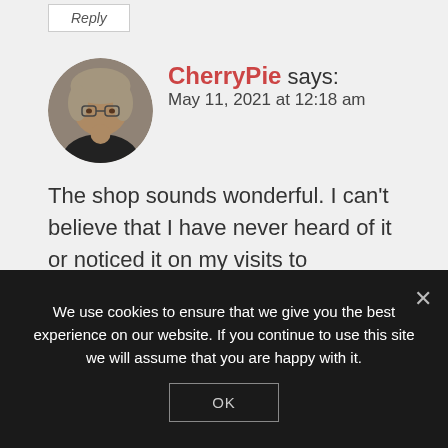Reply
[Figure (photo): Circular avatar photo of a woman with glasses and light-colored hair]
CherryPie says:
May 11, 2021 at 12:18 am
The shop sounds wonderful. I can't believe that I have never heard of it or noticed it on my visits to Shrewsbury.
Reply
We use cookies to ensure that we give you the best experience on our website. If you continue to use this site we will assume that you are happy with it.
OK